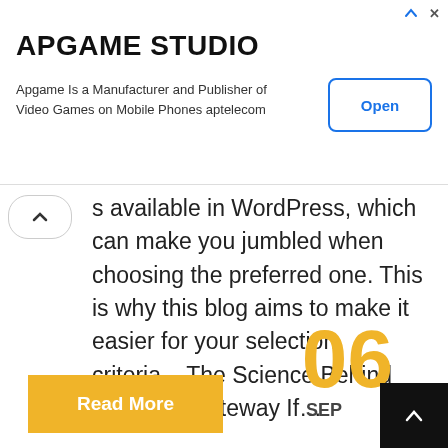[Figure (other): Advertisement banner for APGAME STUDIO with title, description and Open button]
...s available in WordPress, which can make you jumbled when choosing the preferred one. This is why this blog aims to make it easier for your selection criteria.   The Science Behind Payment Gateway If…
Read More
06
SEP